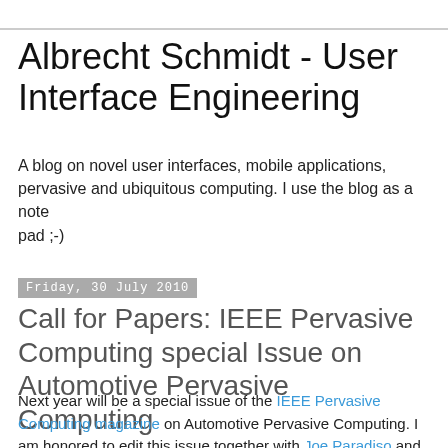Albrecht Schmidt - User Interface Engineering
A blog on novel user interfaces, mobile applications, pervasive and ubiquitous computing. I use the blog as a note pad ;-)
Friday, 30 July 2010
Call for Papers: IEEE Pervasive Computing special Issue on Automotive Pervasive Computing
Next year will be a special issue of the IEEE Pervasive Computing magazine on Automotive Pervasive Computing. I am honored to edit this issue together with Joe Paradiso and Brian Noble :-) The submission deadline for full papers is October 1st and work in progress one month later - see the